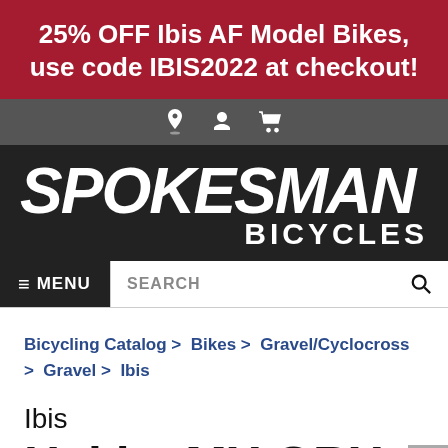25% OFF Ibis AF Model Bikes, use code IBIS2022 at checkout!
[Figure (screenshot): Icon bar with location pin, user account, and shopping cart icons on a dark gray background]
[Figure (logo): Spokesman Bicycles logo — white bold italic text on black background]
≡ MENU   SEARCH
Bicycling Catalog > Bikes > Gravel/Cyclocross > Gravel > Ibis
Ibis
Hakka MX GRX